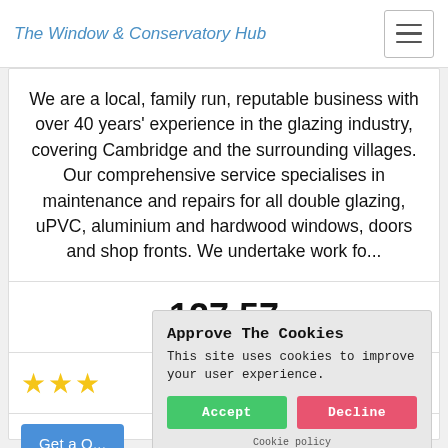The Window & Conservatory Hub
We are a local, family run, reputable business with over 40 years' experience in the glazing industry, covering Cambridge and the surrounding villages. Our comprehensive service specialises in maintenance and repairs for all double glazing, uPVC, aluminium and hardwood windows, doors and shop fronts. We undertake work fo...
127.57
[Figure (other): Three gold/yellow star rating icons]
Get a Q...
Approve The Cookies
This site uses cookies to improve your user experience.
Accept | Decline
Cookie policy